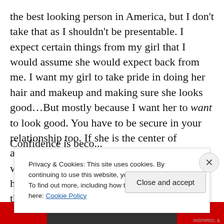the best looking person in America, but I don't take that as I shouldn't be presentable. I expect certain things from my girl that I would assume she would expect back from me. I want my girl to take pride in doing her hair and makeup and making sure she looks good…But mostly because I want her to want to look good. You have to be secure in your relationship too. If she is the center of attention and everyone is gawking at her when she walks into a room, that could be hard for a lot of people. I'm insecure just like the next person, but you have to have confidence.
Confidence is...
Privacy & Cookies: This site uses cookies. By continuing to use this website, you agree to their use.
To find out more, including how to control cookies, see here: Cookie Policy
Close and accept
[Figure (photo): Bottom strip with red background and dark photo strip]
INSPIRED, &